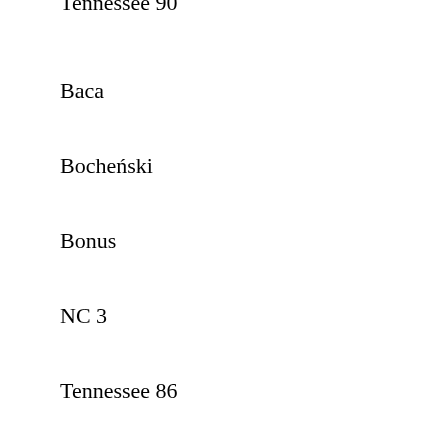Tennessee 90
Baca
Bocheński
Bonus
NC 3
Tennessee 86
Tennessee 97
Bazyl
Bms 3
III. DARK AIR-CURED